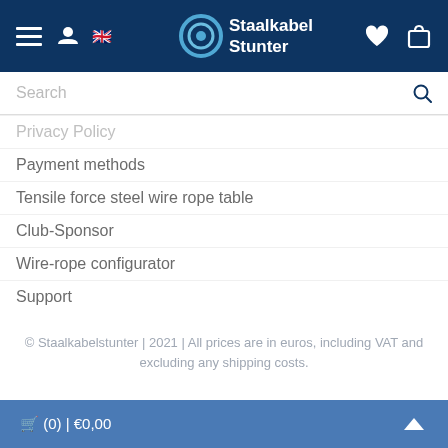Staalkabel Stunter
Search
Privacy Policy
Payment methods
Tensile force steel wire rope table
Club-Sponsor
Wire-rope configurator
Support
© Staalkabelstunter | 2021 | All prices are in euros, including VAT and excluding any shipping costs.
© Wire rope stunter
🛒 (0) | €0,00